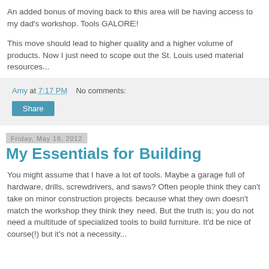An added bonus of moving back to this area will be having access to my dad's workshop. Tools GALORE!
This move should lead to higher quality and a higher volume of products. Now I just need to scope out the St. Louis used material resources...
Amy at 7:17 PM    No comments:
Share
Friday, May 18, 2012
My Essentials for Building
You might assume that I have a lot of tools. Maybe a garage full of hardware, drills, screwdrivers, and saws? Often people think they can't take on minor construction projects because what they own doesn't match the workshop they think they need. But the truth is; you do not need a multitude of specialized tools to build furniture. It'd be nice of course(!) but it's not a necessity...